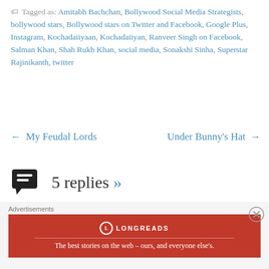Tagged as: Amitabh Bachchan, Bollywood Social Media Strategists, bollywood stars, Bollywood stars on Twitter and Facebook, Google Plus, Instagram, Kochadaiiyaan, Kochadaiiyan, Ranveer Singh on Facebook, Salman Khan, Shah Rukh Khan, social media, Sonakshi Sinha, Superstar Rajinikanth, twitter
← My Feudal Lords   Under Bunny's Hat →
5 replies »
burcidi
June 13, 2014 at 2:59 PM
wow, fantastic article! Such an eye opener, well done!
Advertisements
LONGREADS
The best stories on the web – ours, and everyone else's.